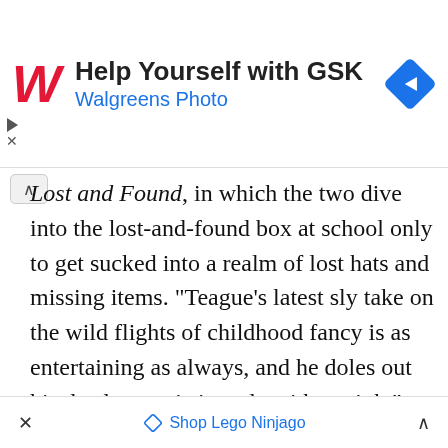[Figure (screenshot): Walgreens ad banner: red italic W logo, 'Help Yourself with GSK' in bold, 'Walgreens Photo' in blue, blue diamond navigation icon on right]
Lost and Found, in which the two dive into the lost-and-found box at school only to get sucked into a realm of lost hats and missing items. "Teague's latest sly take on the wild flights of childhood fancy is as entertaining as always, and he doles out his deadpan artistic style with a wink," according to a reviewer for Publishers Weekly. As Booklist critic Stephanie Zvirin noted, "children will … love the crazy
[Figure (screenshot): Bottom ad bar: X close button on left, diamond icon with 'Shop Lego Ninjago' in blue center, caret expand button on right]